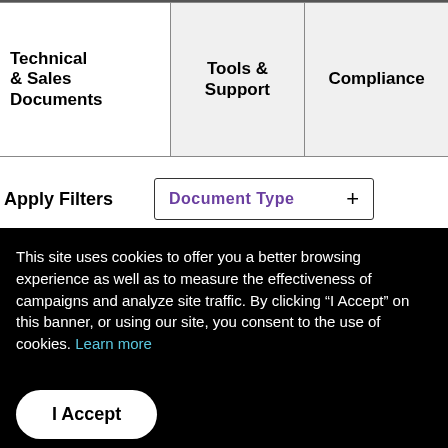| Technical & Sales Documents | Tools & Support | Compliance |
Apply Filters
Document Type +
This site uses cookies to offer you a better browsing experience as well as to measure the effectiveness of campaigns and analyze site traffic. By clicking “I Accept” on this banner, or using our site, you consent to the use of cookies. Learn more
I Accept